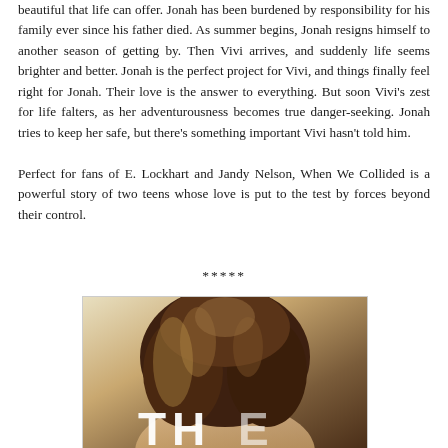beautiful that life can offer. Jonah has been burdened by responsibility for his family ever since his father died. As summer begins, Jonah resigns himself to another season of getting by. Then Vivi arrives, and suddenly life seems brighter and better. Jonah is the perfect project for Vivi, and things finally feel right for Jonah. Their love is the answer to everything. But soon Vivi's zest for life falters, as her adventurousness becomes true danger-seeking. Jonah tries to keep her safe, but there's something important Vivi hasn't told him.
Perfect for fans of E. Lockhart and Jandy Nelson, When We Collided is a powerful story of two teens whose love is put to the test by forces beyond their control.
*****
[Figure (photo): Book cover image showing a person with long curly hair from behind, with large text letters 'TH' visible at the bottom, warm toned background.]